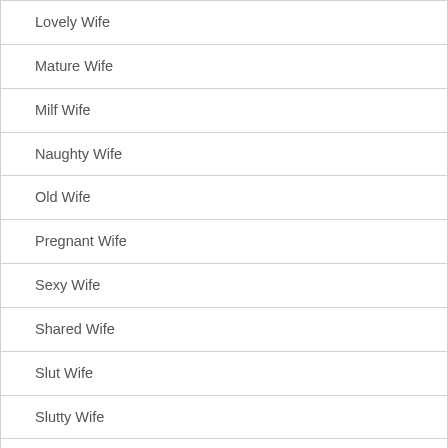Lovely Wife
Mature Wife
Milf Wife
Naughty Wife
Old Wife
Pregnant Wife
Sexy Wife
Shared Wife
Slut Wife
Slutty Wife
White Wife